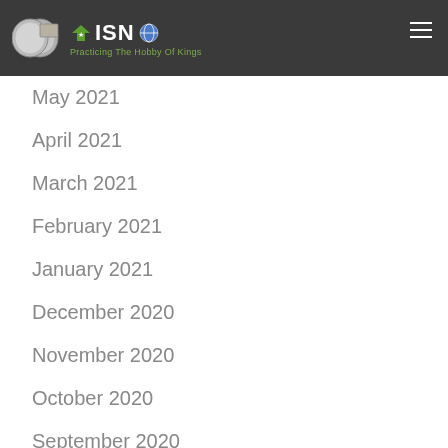ISN — Practicing The Hobby Of Kings
May 2021
April 2021
March 2021
February 2021
January 2021
December 2020
November 2020
October 2020
September 2020
August 2020
July 2020
June 2020
May 2020
April 2020